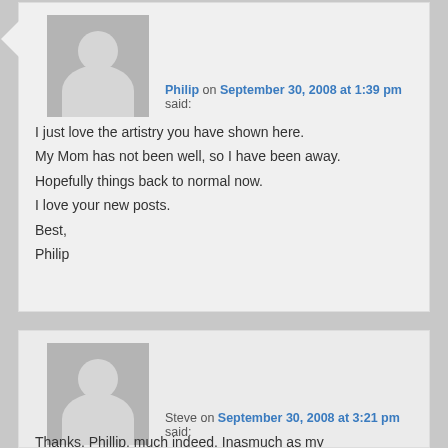[Figure (illustration): Grey avatar placeholder image for user Philip]
Philip on September 30, 2008 at 1:39 pm said:
I just love the artistry you have shown here.
My Mom has not been well, so I have been away.
Hopefully things back to normal now.
I love your new posts.
Best,
Philip
[Figure (illustration): Grey avatar placeholder image for user Steve]
Steve on September 30, 2008 at 3:21 pm said:
Thanks, Phillip, much indeed. Inasmuch as my